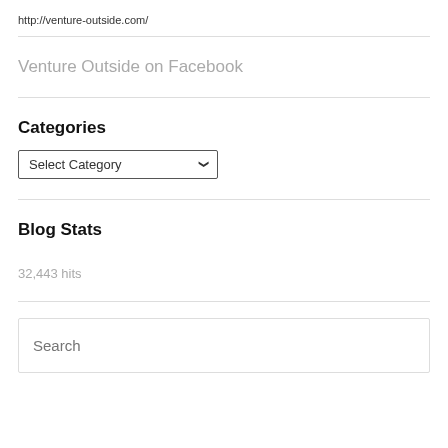http://venture-outside.com/
Venture Outside on Facebook
Categories
Select Category
Blog Stats
32,443 hits
Search